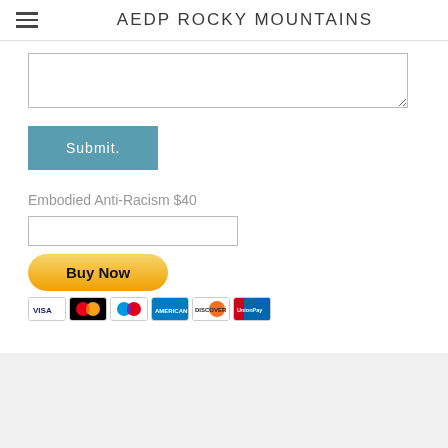AEDP ROCKY MOUNTAINS
[Figure (screenshot): Textarea input field (form element)]
[Figure (screenshot): Submit button (teal/blue color)]
Embodied Anti-Racism $40
[Figure (screenshot): Text input field for PayPal form]
[Figure (screenshot): PayPal Buy Now button with credit card icons (Visa, Mastercard, Maestro, American Express, Discover, UnionPay)]